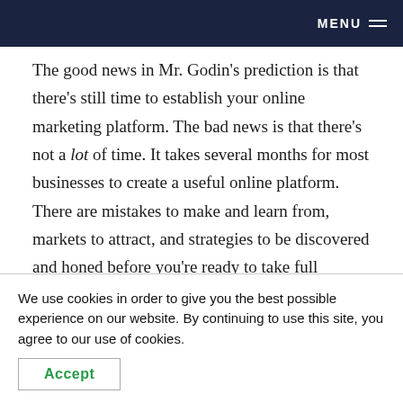MENU
The good news in Mr. Godin’s prediction is that there’s still time to establish your online marketing platform. The bad news is that there’s not a lot of time. It takes several months for most businesses to create a useful online platform. There are mistakes to make and learn from, markets to attract, and strategies to be discovered and honed before you’re ready to take full advantage. If you’re not ready, 50-90% of very little is “not very much.”
We use cookies in order to give you the best possible experience on our website. By continuing to use this site, you agree to our use of cookies.
Accept